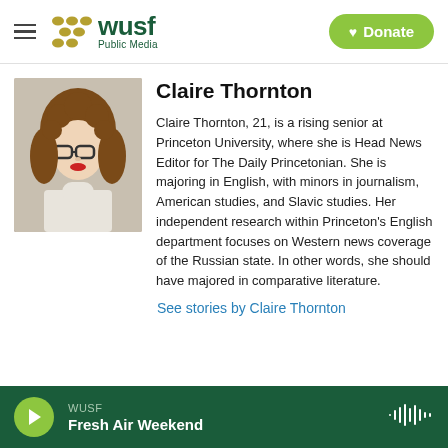WUSF Public Media — Donate
Claire Thornton
Claire Thornton, 21, is a rising senior at Princeton University, where she is Head News Editor for The Daily Princetonian. She is majoring in English, with minors in journalism, American studies, and Slavic studies. Her independent research within Princeton's English department focuses on Western news coverage of the Russian state. In other words, she should have majored in comparative literature.
See stories by Claire Thornton
WUSF — Fresh Air Weekend